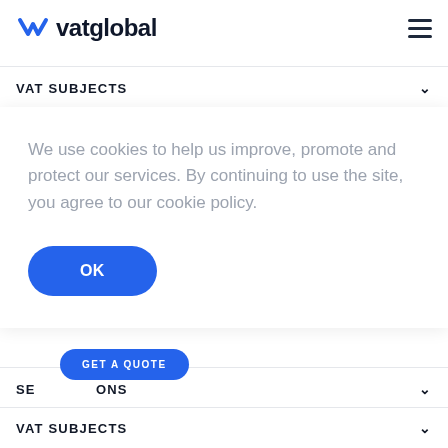vatglobal
VAT SUBJECTS
TECHNOLOGY
We use cookies to help us improve, promote and protect our services. By continuing to use the site, you agree to our cookie policy.
OK
GET A QUOTE
SE... ONS
VAT SUBJECTS